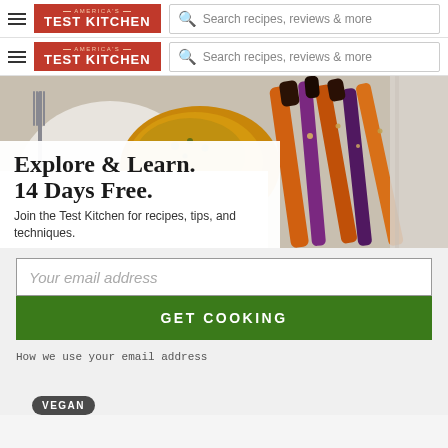AMERICA'S TEST KITCHEN — Search recipes, reviews & more
AMERICA'S TEST KITCHEN — Search recipes, reviews & more
[Figure (photo): Food photo showing roasted chicken and colorful roasted carrots on a plate with a fork, next to a cloth napkin]
Explore & Learn.
14 Days Free.
Join the Test Kitchen for recipes, tips, and techniques.
Your email address
GET COOKING
How we use your email address
VEGAN